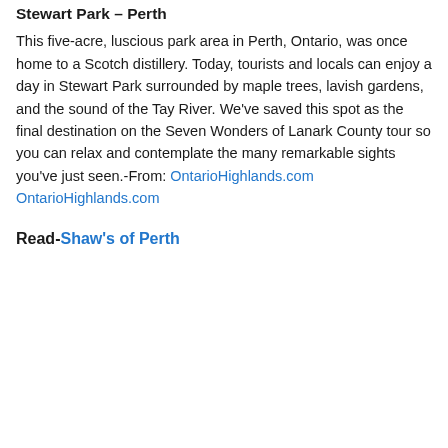Stewart Park – Perth
This five-acre, luscious park area in Perth, Ontario, was once home to a Scotch distillery. Today, tourists and locals can enjoy a day in Stewart Park surrounded by maple trees, lavish gardens, and the sound of the Tay River. We've saved this spot as the final destination on the Seven Wonders of Lanark County tour so you can relax and contemplate the many remarkable sights you've just seen.-From: OntarioHighlands.com OntarioHighlands.com
Read-Shaw's of Perth